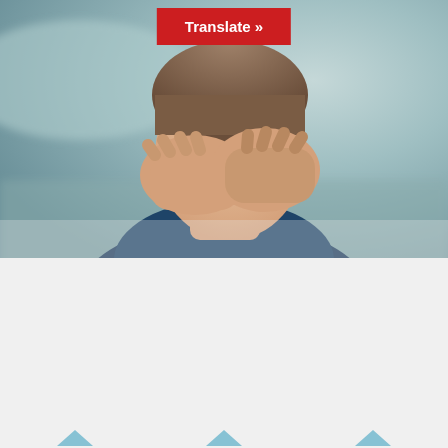[Figure (photo): Person with hands covering their face, suggesting stress or fatigue, blurred outdoor background]
Translate »
Griffith Health
Truckies using elite athlete technology to prevent fatigue
Special biometric vests normally used by elite athletes have been earmarked for a Griffith University study to monitor how fatigue can impact the driving behaviour of truckies.